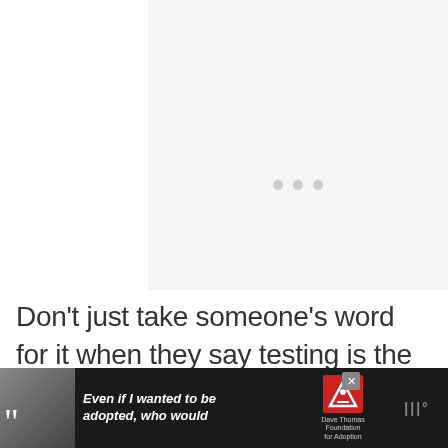[Figure (other): Light gray placeholder image area with three small gray dots centered near the top, indicating a loading or empty image state]
Don't just take someone's word for it when they say testing is the only way to measure your
[Figure (other): Advertisement banner at the bottom: dark background with a black-and-white photo of a young woman, large quotation marks, italic text reading 'Even if I wanted to be adopted, who would', Dave Thomas Foundation for Adoption logo, and a close button]